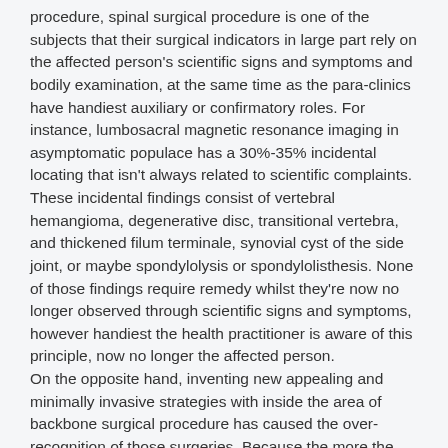procedure, spinal surgical procedure is one of the subjects that their surgical indicators in large part rely on the affected person's scientific signs and symptoms and bodily examination, at the same time as the para-clinics have handiest auxiliary or confirmatory roles. For instance, lumbosacral magnetic resonance imaging in asymptomatic populace has a 30%-35% incidental locating that isn't always related to scientific complaints. These incidental findings consist of vertebral hemangioma, degenerative disc, transitional vertebra, and thickened filum terminale, synovial cyst of the side joint, or maybe spondylolysis or spondylolisthesis. None of those findings require remedy whilst they're now no longer observed through scientific signs and symptoms, however handiest the health practitioner is aware of this principle, now no longer the affected person. On the opposite hand, inventing new appealing and minimally invasive strategies with inside the area of backbone surgical procedure has caused the over-recognition of those surgeries. Because the more the wide variety and complexity of surgeries, the more the